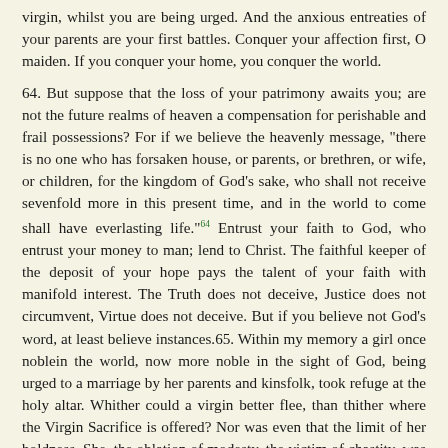virgin, whilst you are being urged. And the anxious entreaties of your parents are your first battles. Conquer your affection first, O maiden. If you conquer your home, you conquer the world.
64. But suppose that the loss of your patrimony awaits you; are not the future realms of heaven a compensation for perishable and frail possessions? For if we believe the heavenly message, "there is no one who has forsaken house, or parents, or brethren, or wife, or children, for the kingdom of God's sake, who shall not receive sevenfold more in this present time, and in the world to come shall have everlasting life."[64] Entrust your faith to God, who entrust your money to man; lend to Christ. The faithful keeper of the deposit of your hope pays the talent of your faith with manifold interest. The Truth does not deceive, Justice does not circumvent, Virtue does not deceive. But if you believe not God's word, at least believe instances.65. Within my memory a girl once noblein the world, now more noble in the sight of God, being urged to a marriage by her parents and kinsfolk, took refuge at the holy altar. Whither could a virgin better flee, than thither where the Virgin Sacrifice is offered? Nor was even that the limit of her boldness. She, the oblation of modesty, the victim of chastity, was standing at the altar of God, now placing upon her head the right hand of the priest, asking his prayers, and now impatient at the righteous delay, placing the top of her head under the altar. "Can any better veil," she said, "cover me better than the altar which consecrates the veils themselves? God, hold this my veil, which Christ has blessed.